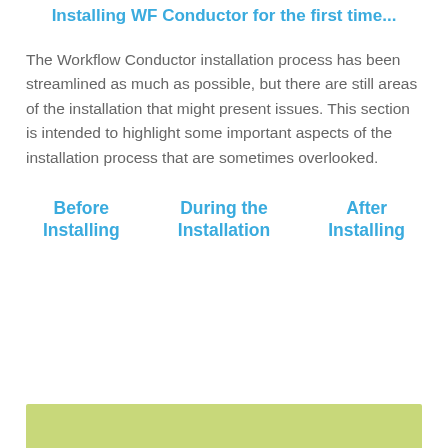Installing WF Conductor for the first time...
The Workflow Conductor installation process has been streamlined as much as possible, but there are still areas of the installation that might present issues. This section is intended to highlight some important aspects of the installation process that are sometimes overlooked.
Before Installing
During the Installation
After Installing
[Figure (other): Green bar/panel at the bottom of the page, partially visible]